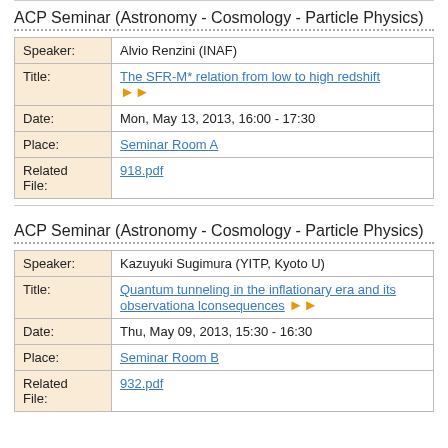ACP Seminar (Astronomy - Cosmology - Particle Physics)
| Field | Value |
| --- | --- |
| Speaker: | Alvio Renzini (INAF) |
| Title: | The SFR-M* relation from low to high redshift » |
| Date: | Mon, May 13, 2013, 16:00 - 17:30 |
| Place: | Seminar Room A |
| Related File: | 918.pdf |
ACP Seminar (Astronomy - Cosmology - Particle Physics)
| Field | Value |
| --- | --- |
| Speaker: | Kazuyuki Sugimura (YITP, Kyoto U) |
| Title: | Quantum tunneling in the inflationary era and its observationa lconsequences » |
| Date: | Thu, May 09, 2013, 15:30 - 16:30 |
| Place: | Seminar Room B |
| Related File: | 932.pdf |